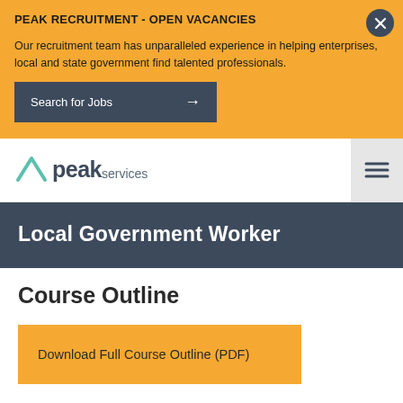PEAK RECRUITMENT - OPEN VACANCIES
Our recruitment team has unparalleled experience in helping enterprises, local and state government find talented professionals.
Search for Jobs →
[Figure (logo): Peak services logo with teal chevron/arrow icon]
Local Government Worker
Course Outline
Download Full Course Outline (PDF)